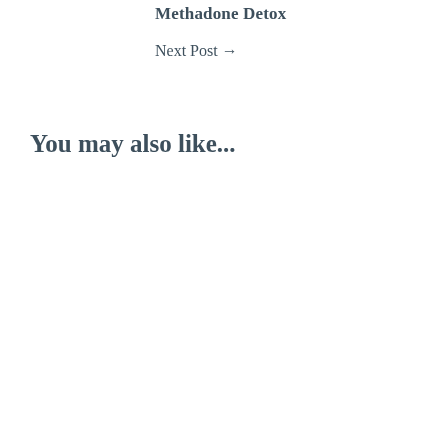Methadone Detox
Next Post →
You may also like...